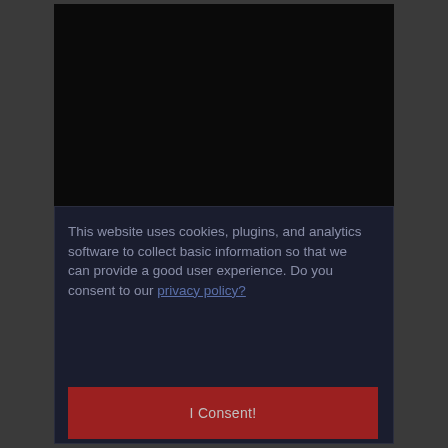This website uses cookies, plugins, and analytics software to collect basic information so that we can provide a good user experience. Do you consent to our privacy policy?
I Consent!